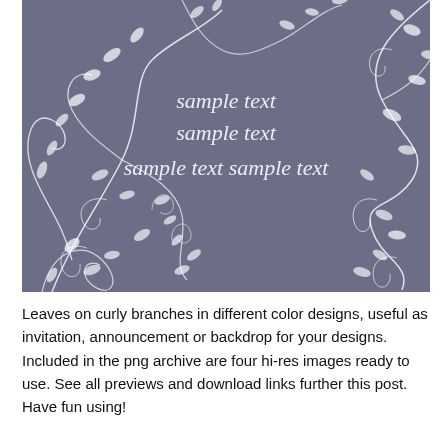[Figure (illustration): Decorative floral illustration with curly vine branches and white leaves on a muted blue-gray/slate purple background. In the center-right area, three lines of italic script placeholder text read 'sample text', 'sample text', and 'sample text sample text'. The swirling vines with spiral ends and leaf clusters fill all four corners and edges of the image.]
Leaves on curly branches in different color designs, useful as invitation, announcement or backdrop for your designs. Included in the png archive are four hi-res images ready to use. See all previews and download links further this post. Have fun using!